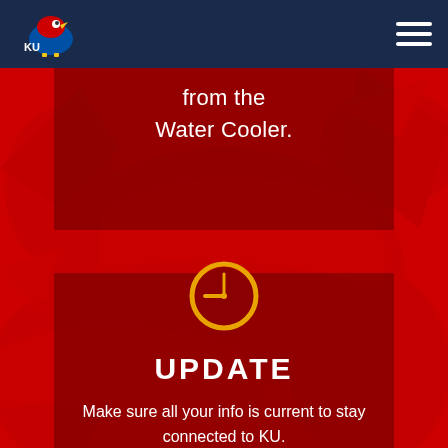KU — University of Kansas header with logo and hamburger menu
from the
Water Cooler.
[Figure (illustration): Clock icon — yellow/gold circle outline with a clock face showing hands pointing to approximately 9:00]
UPDATE
Make sure all your info is current to stay connected to KU.